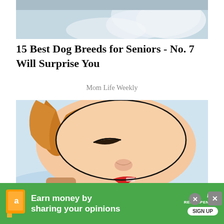[Figure (photo): Partial top image showing a white fluffy dog or animal on a light blue background, cropped at top]
15 Best Dog Breeds for Seniors - No. 7 Will Surprise You
Mom Life Weekly
[Figure (illustration): Comic/pop-art style illustration of a person with red lips sleeping on a blue pillow, side profile view]
[Figure (other): Advertisement banner: green background with Amazon icon, text 'Earn money by sharing your opinions', MyT Recompensas logo, and SIGN UP button]